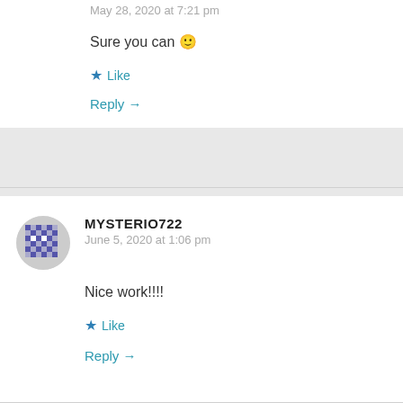May 28, 2020 at 7:21 pm
Sure you can 🙂
★ Like
Reply →
MYSTERIO722
June 5, 2020 at 1:06 pm
Nice work!!!!
★ Like
Reply →